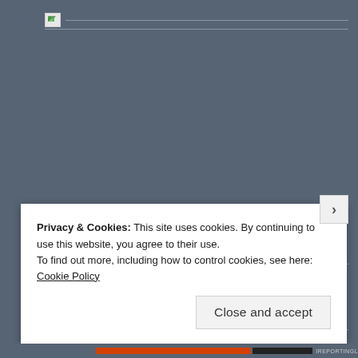[Figure (screenshot): Broken image placeholder at top of page with horizontal line on a grey-blue background]
[Figure (screenshot): Broken image placeholder in middle section with horizontal line on a grey-blue background]
Privacy & Cookies: This site uses cookies. By continuing to use this website, you agree to their use.
To find out more, including how to control cookies, see here: Cookie Policy
Close and accept